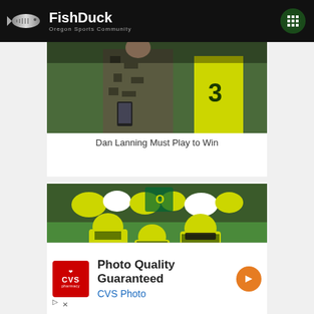FishDuck – Oregon Sports Community
[Figure (photo): Person holding a device or camera, partially cropped, with Oregon Ducks green jersey visible in background]
Dan Lanning Must Play to Win
[Figure (photo): Oregon Ducks football players in yellow uniforms running onto the field; jersey numbers 27, 3, and 7 visible]
[Figure (photo): Advertisement: CVS Pharmacy – Photo Quality Guaranteed, CVS Photo]